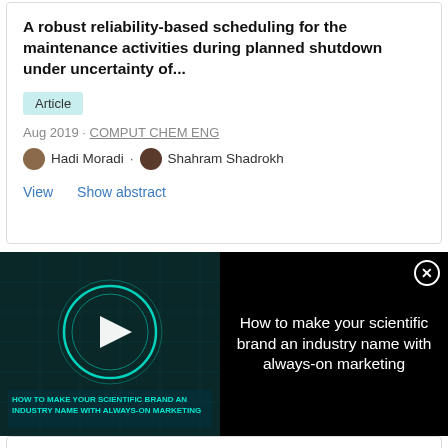A robust reliability-based scheduling for the maintenance activities during planned shutdown under uncertainty of...
Article
Aug 2019 · COMPUT CHEM ENG
Hadi Moradi · Shahram Shadrokh
View   Show abstract
[Figure (screenshot): Advertisement overlay: video thumbnail on left showing glowing circular tech graphic with play button and text 'HOW TO MAKE YOUR SCIENTIFIC BRAND AN INDUSTRY NAME WITH ALWAYS-ON MARKETING'. Right side shows text 'How to make your scientific brand an industry name with always-on marketing' on black background with close button.]
[Figure (photo): Thermo Fisher Scientific Laser Capture Microdissection instrument image with logo and product name]
Laser Capture Microdissection